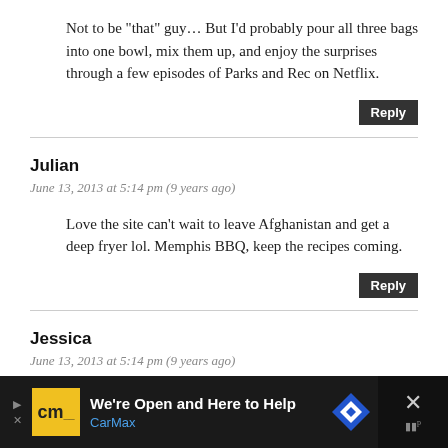Not to be “that” guy… But I’d probably pour all three bags into one bowl, mix them up, and enjoy the surprises through a few episodes of Parks and Rec on Netflix.
Reply
Julian
June 13, 2013 at 5:14 pm (9 years ago)
Love the site can’t wait to leave Afghanistan and get a deep fryer lol. Memphis BBQ, keep the recipes coming.
Reply
Jessica
June 13, 2013 at 5:14 pm (9 years ago)
[Figure (other): Advertisement banner for CarMax with text 'We’re Open and Here to Help' and CarMax logo, close button on right]